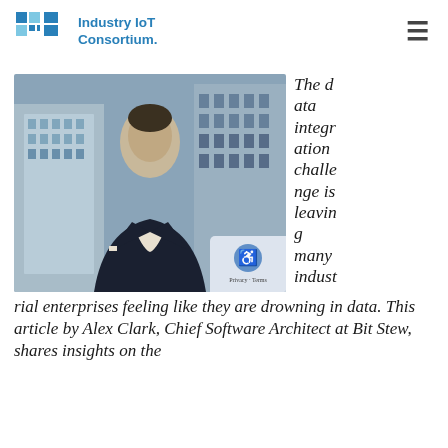Industry IoT Consortium.
[Figure (photo): Professional headshot of Alex Clark, Chief Software Architect at Bit Stew, in a dark suit with white shirt, standing in front of modern glass office buildings.]
The data integration challenge is leaving many industrial enterprises feeling like they are drowning in data. This article by Alex Clark, Chief Software Architect at Bit Stew, shares insights on the